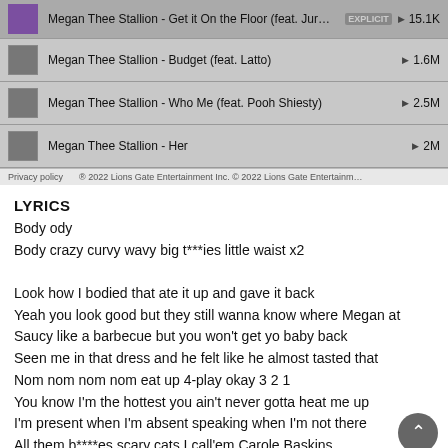[Figure (screenshot): Music streaming app showing a list of Megan Thee Stallion tracks with play counts, and a privacy policy footer bar]
LYRICS
Body ody
Body crazy curvy wavy big t***ies little waist x2

Look how I bodied that ate it up and gave it back
Yeah you look good but they still wanna know where Megan at
Saucy like a barbecue but you won't get yo baby back
Seen me in that dress and he felt like he almost tasted that
Nom nom nom nom eat up 4-play okay 3 2 1
You know I'm the hottest you ain't never gotta heat me up
I'm present when I'm absent speaking when I'm not there
All them b****es scary cats I call'em Carole Baskins